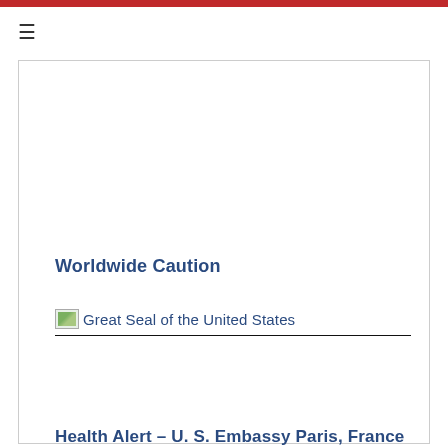≡
Worldwide Caution
[Figure (illustration): Broken image placeholder with alt text 'Great Seal of the United States', followed by underline separator]
Health Alert – U. S. Embassy Paris, France  (August 2, 2022)